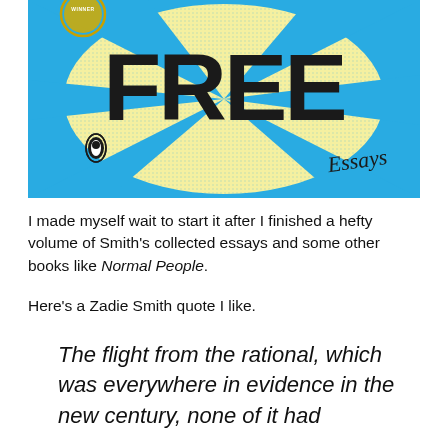[Figure (illustration): Book cover of 'Feel Free: Essays' by Zadie Smith. Blue and yellow abstract background with large bold black text 'FREE' visible, a gold 'WINNER' badge at top left, Penguin publisher logo, and cursive script 'Essays' text.]
I made myself wait to start it after I finished a hefty volume of Smith's collected essays and some other books like Normal People.
Here's a Zadie Smith quote I like.
The flight from the rational, which was everywhere in evidence in the new century, none of it had